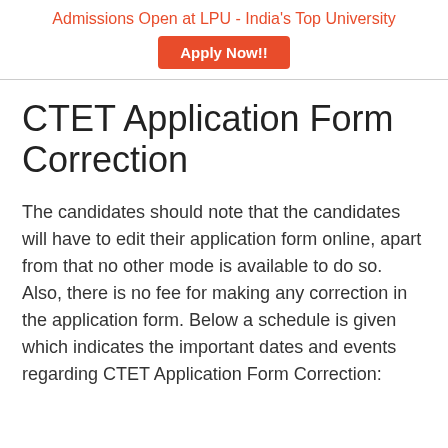Admissions Open at LPU - India's Top University
CTET Application Form Correction
The candidates should note that the candidates will have to edit their application form online, apart from that no other mode is available to do so. Also, there is no fee for making any correction in the application form. Below a schedule is given which indicates the important dates and events regarding CTET Application Form Correction: